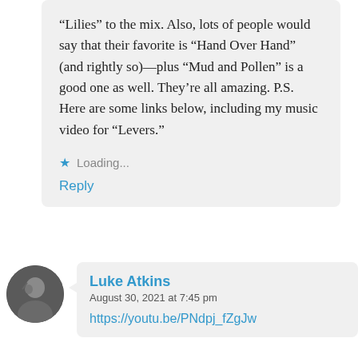“Lilies” to the mix. Also, lots of people would say that their favorite is “Hand Over Hand” (and rightly so)—plus “Mud and Pollen” is a good one as well. They’re all amazing. P.S. Here are some links below, including my music video for “Levers.”
Loading...
Reply
Luke Atkins
August 30, 2021 at 7:45 pm
https://youtu.be/PNdpj_fZgJw